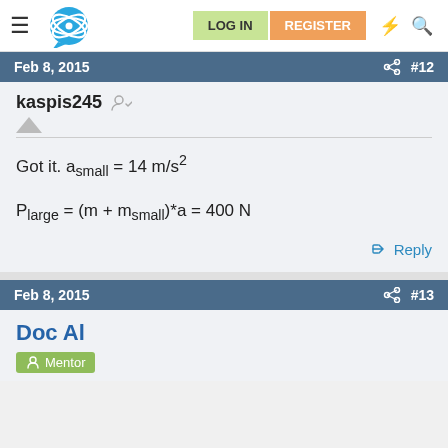LOG IN  REGISTER
Feb 8, 2015  #12
kaspis245
Got it. a_small = 14 m/s²
Feb 8, 2015  #13
Doc Al
Mentor